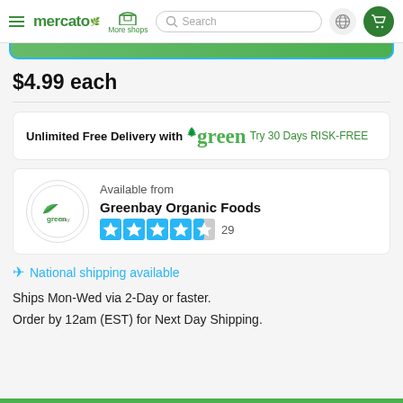mercato — More shops — Search — Navigation bar
[Figure (screenshot): Partial green banner at top of page, partially visible]
$4.99 each
Unlimited Free Delivery with green Try 30 Days RISK-FREE
[Figure (logo): Greenbay Organic Foods circular logo with green leaf and text]
Available from
Greenbay Organic Foods
★★★★½ 29
✈ National shipping available
Ships Mon-Wed via 2-Day or faster.
Order by 12am (EST) for Next Day Shipping.